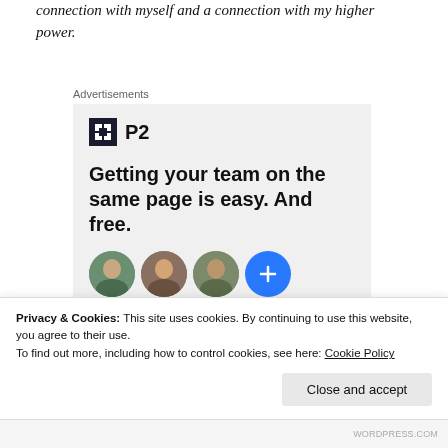connection with myself and a connection with my higher power.
Advertisements
[Figure (screenshot): Advertisement for P2 product showing logo, headline 'Getting your team on the same page is easy. And free.' with four user avatars below.]
Privacy & Cookies: This site uses cookies. By continuing to use this website, you agree to their use.
To find out more, including how to control cookies, see here: Cookie Policy
Close and accept